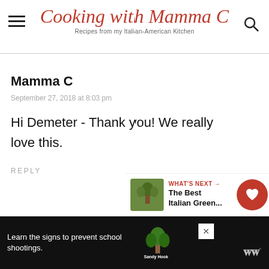Cooking with Mamma C – Recipes from my Italian-American Kitchen
Mamma C
September 27, 2018 at 8:03 pm
Hi Demeter - Thank you! We really love this.
REPLY
WHAT'S NEXT → The Best Italian Green...
Learn the signs to prevent school shootings.